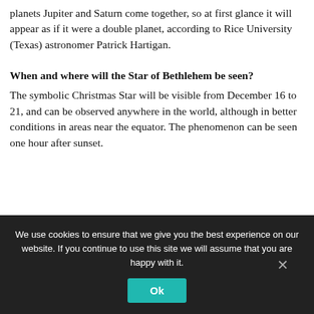planets Jupiter and Saturn come together, so at first glance it will appear as if it were a double planet, according to Rice University (Texas) astronomer Patrick Hartigan.
When and where will the Star of Bethlehem be seen?
The symbolic Christmas Star will be visible from December 16 to 21, and can be observed anywhere in the world, although in better conditions in areas near the equator. The phenomenon can be seen one hour after sunset.
We use cookies to ensure that we give you the best experience on our website. If you continue to use this site we will assume that you are happy with it.